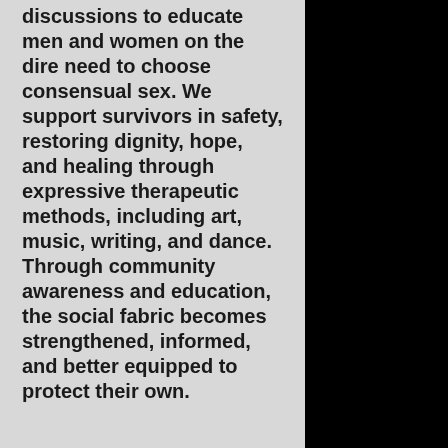discussions to educate men and women on the dire need to choose consensual sex. We support survivors in safety, restoring dignity, hope, and healing through expressive therapeutic methods, including art, music, writing, and dance. Through community awareness and education, the social fabric becomes strengthened, informed, and better equipped to protect their own.
ABOUT THE FOUNDER
“Individually, we are one drop. Together, we are an ocean.” – Ryunosuke Satoro
Tough Angels emerged after Patricia